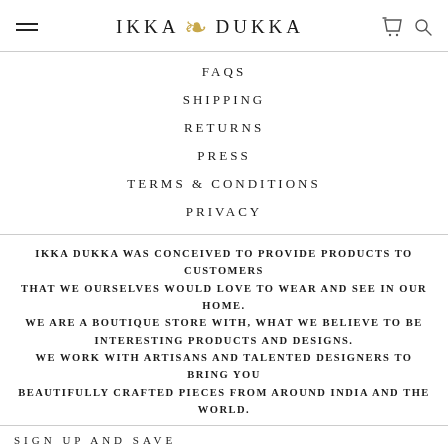IKKA DUKKA
FAQS
SHIPPING
RETURNS
PRESS
TERMS & CONDITIONS
PRIVACY
IKKA DUKKA WAS CONCEIVED TO PROVIDE PRODUCTS TO CUSTOMERS THAT WE OURSELVES WOULD LOVE TO WEAR AND SEE IN OUR HOME. WE ARE A BOUTIQUE STORE WITH, WHAT WE BELIEVE TO BE INTERESTING PRODUCTS AND DESIGNS. WE WORK WITH ARTISANS AND TALENTED DESIGNERS TO BRING YOU BEAUTIFULLY CRAFTED PIECES FROM AROUND INDIA AND THE WORLD.
SIGN UP AND SAVE
SUBSCRIBE TO GET SPECIAL OFFERS, FREE GIVEAWAYS, AND ONCE-IN-A-LIFETIME DEALS.